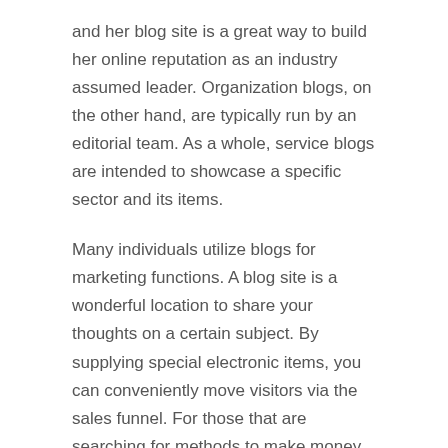and her blog site is a great way to build her online reputation as an industry assumed leader. Organization blogs, on the other hand, are typically run by an editorial team. As a whole, service blogs are intended to showcase a specific sector and its items.
Many individuals utilize blogs for marketing functions. A blog site is a wonderful location to share your thoughts on a certain subject. By supplying special electronic items, you can conveniently move visitors via the sales funnel. For those that are searching for methods to make money from blogging, you should look into the advantages of running a blog site. You can generate significant profit by making use of blogs for your advertising objectives. You might also be able to produce a blog that makes money for you.